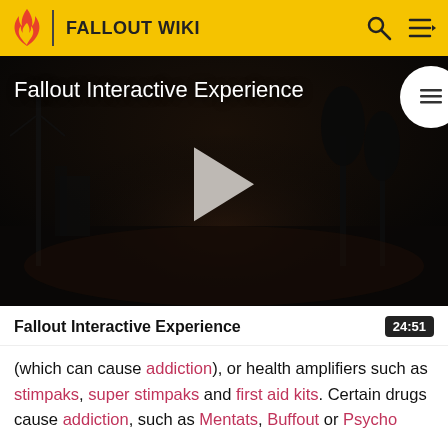FALLOUT WIKI
[Figure (screenshot): Video thumbnail for 'Fallout Interactive Experience' — dark post-apocalyptic scene with a play button in the center and TOC icon top right]
Fallout Interactive Experience
24:51
(which can cause addiction), or health amplifiers such as stimpaks, super stimpaks and first aid kits. Certain drugs cause addiction, such as Mentats, Buffout or Psycho